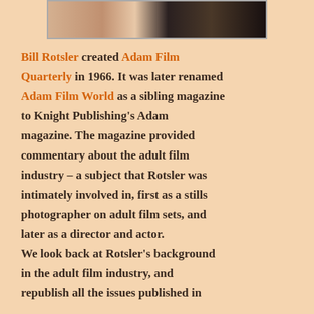[Figure (photo): Partial photo strip at top of page showing figures, cropped]
Bill Rotsler created Adam Film Quarterly in 1966. It was later renamed Adam Film World as a sibling magazine to Knight Publishing’s Adam magazine. The magazine provided commentary about the adult film industry – a subject that Rotsler was intimately involved in, first as a stills photographer on adult film sets, and later as a director and actor.
We look back at Rotsler’s background in the adult film industry, and republish all the issues published in